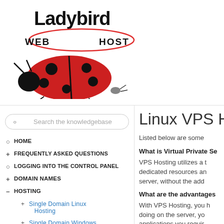[Figure (logo): Ladybird Web Host logo with red ladybird illustration and text 'Ladybird WEB HOST']
HOME
+ FREQUENTLY ASKED QUESTIONS
LOGGING INTO THE CONTROL PANEL
+ DOMAIN NAMES
— HOSTING
+ Single Domain Linux Hosting
+ Single Domain Windows Hosting
+ Multi Domain Linux Hosting
+ Multi Domain Windows
Linux VPS Ho
Listed below are some
What is Virtual Private Se
VPS Hosting utilizes a t dedicated resources an server, without the add
What are the advantages
With VPS Hosting, you h doing on the server, yo applications you requir HDD and Bandwidth al